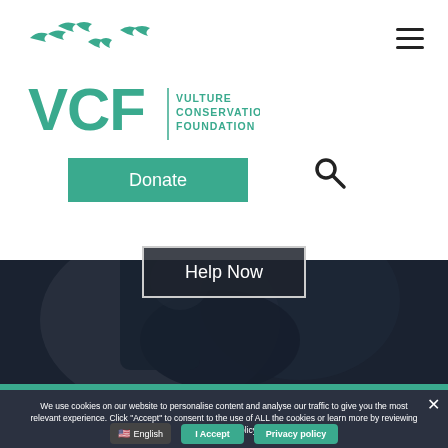[Figure (logo): VCF Vulture Conservation Foundation logo with green flying vulture silhouettes and green text 'VCF VULTURE CONSERVATION FOUNDATION']
[Figure (other): Hamburger menu icon (three horizontal lines) in top right corner]
Donate
[Figure (other): Search magnifying glass icon]
[Figure (photo): Dark photo of a person holding or examining a vulture bird, dimly lit, serving as hero image]
Help Now
We use cookies on our website to personalise content and analyse our traffic to give you the most relevant experience. Click "Accept" to consent to the use of ALL the cookies or learn more by reviewing our Privacy Policy.
I Accept
Privacy policy
English